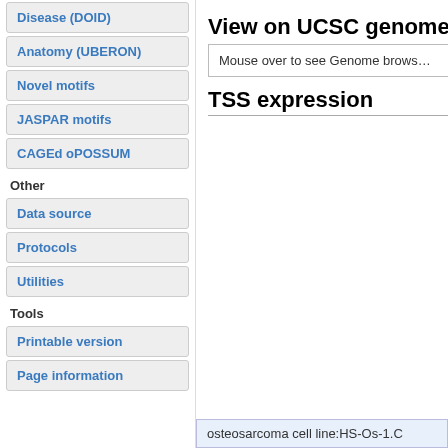Disease (DOID)
Anatomy (UBERON)
Novel motifs
JASPAR motifs
CAGEd oPOSSUM
Other
Data source
Protocols
Utilities
Tools
Printable version
Page information
View on UCSC genome b
Mouse over to see Genome brows…
TSS expression
osteosarcoma cell line:HS-Os-1.C